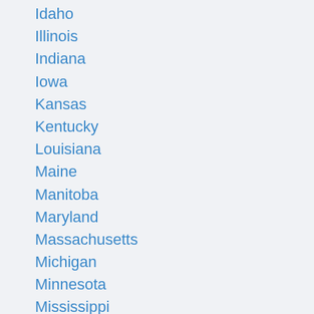Idaho
Illinois
Indiana
Iowa
Kansas
Kentucky
Louisiana
Maine
Manitoba
Maryland
Massachusetts
Michigan
Minnesota
Mississippi
Missouri
Montana
Nebraska
Nevada
New Brunswick